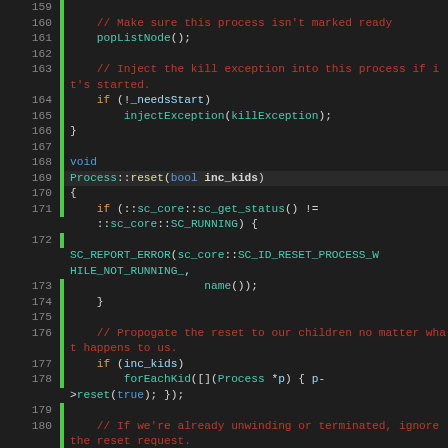[Figure (screenshot): Source code listing showing C++ code for Process::reset method, lines 159-184, displayed in a dark-themed code editor with syntax highlighting. Line numbers on the left, green vertical bar for active/highlighted lines, colored keywords.]